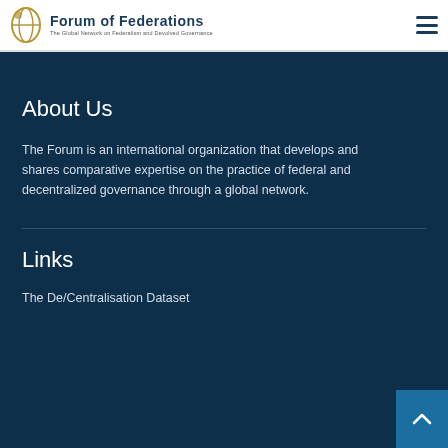Forum of Federations — The Global Network on Federalism and Devolved Governance
About Us
The Forum is an international organization that develops and shares comparative expertise on the practice of federal and decentralized governance through a global network.
Links
The De/Centralisation Dataset